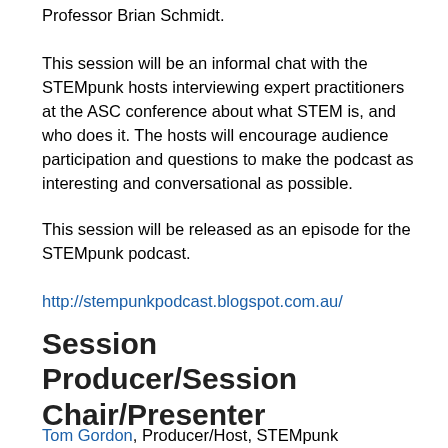Professor Brian Schmidt.
This session will be an informal chat with the STEMpunk hosts interviewing expert practitioners at the ASC conference about what STEM is, and who does it. The hosts will encourage audience participation and questions to make the podcast as interesting and conversational as possible.
This session will be released as an episode for the STEMpunk podcast.
http://stempunkpodcast.blogspot.com.au/
Session Producer/Session Chair/Presenter
Tom Gordon, Producer/Host, STEMpunk